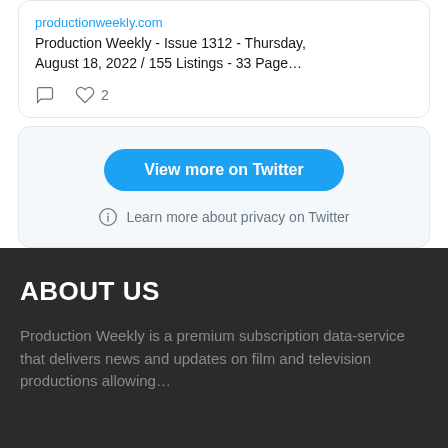[Figure (screenshot): Twitter/social media embed card showing productionweekly.com link with text 'Production Weekly - Issue 1312 - Thursday, August 18, 2022 / 155 Listings - 33 Page...' and comment/heart icons with count 2]
View more on Twitter
Learn more about privacy on Twitter
ABOUT US
Production Weekly is a premium subscription data-service that delivers news and updates on film and television productions allowing...